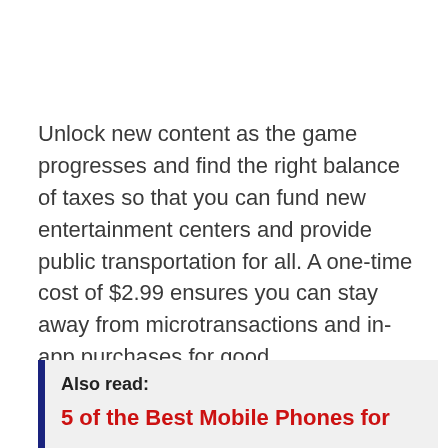Unlock new content as the game progresses and find the right balance of taxes so that you can fund new entertainment centers and provide public transportation for all. A one-time cost of $2.99 ensures you can stay away from microtransactions and in-app purchases for good.
Also read:
5 of the Best Mobile Phones for